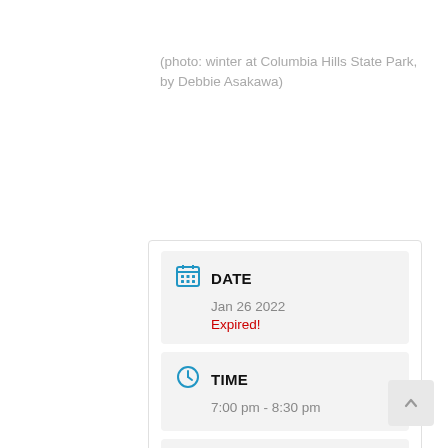(photo: winter at Columbia Hills State Park, by Debbie Asakawa)
DATE
Jan 26 2022
Expired!
TIME
7:00 pm - 8:30 pm
LOCAL TIME
Timezone:
America/New_York